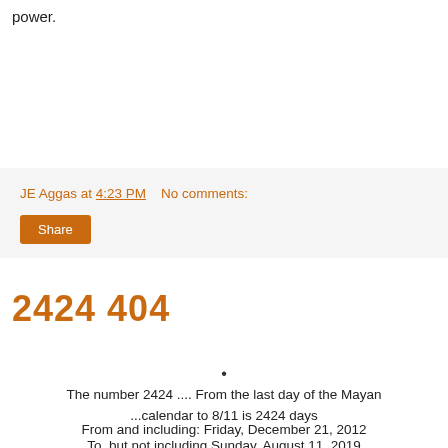power.
JE Aggas at 4:23 PM   No comments:
Share
2424 404
•
The number 2424 .... From the last day of the Mayan ...calendar to 8/11 is 2424 days
From and including: Friday, December 21, 2012
To, but not including Sunday, August 11, 2019